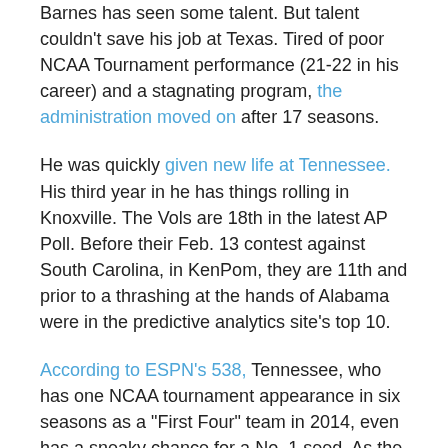Barnes has seen some talent. But talent couldn't save his job at Texas. Tired of poor NCAA Tournament performance (21-22 in his career) and a stagnating program, the administration moved on after 17 seasons.
He was quickly given new life at Tennessee. His third year in he has things rolling in Knoxville. The Vols are 18th in the latest AP Poll. Before their Feb. 13 contest against South Carolina, in KenPom, they are 11th and prior to a thrashing at the hands of Alabama were in the predictive analytics site's top 10.
According to ESPN's 538, Tennessee, who has one NCAA tournament appearance in six seasons as a "First Four" team in 2014, even has a sneaky chance for a No. 1 seed. As the piece mentions, this was a team projected to finish 13th in the SEC.